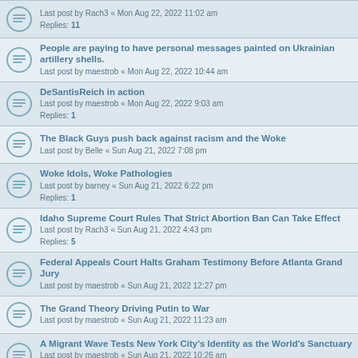Last post by Rach3 « Mon Aug 22, 2022 11:02 am
Replies: 11
People are paying to have personal messages painted on Ukrainian artillery shells.
Last post by maestrob « Mon Aug 22, 2022 10:44 am
DeSantisReich in action
Last post by maestrob « Mon Aug 22, 2022 9:03 am
Replies: 1
The Black Guys push back against racism and the Woke
Last post by Belle « Sun Aug 21, 2022 7:08 pm
Woke Idols, Woke Pathologies
Last post by barney « Sun Aug 21, 2022 6:22 pm
Replies: 1
Idaho Supreme Court Rules That Strict Abortion Ban Can Take Effect
Last post by Rach3 « Sun Aug 21, 2022 4:43 pm
Replies: 5
Federal Appeals Court Halts Graham Testimony Before Atlanta Grand Jury
Last post by maestrob « Sun Aug 21, 2022 12:27 pm
The Grand Theory Driving Putin to War
Last post by maestrob « Sun Aug 21, 2022 11:23 am
A Migrant Wave Tests New York City's Identity as the World's Sanctuary
Last post by maestrob « Sun Aug 21, 2022 10:26 am
Replies: 3
The daughter of an influential Russian writer was killed on a highway west of Moscow.
Last post by maestrob « Sun Aug 21, 2022 10:19 am